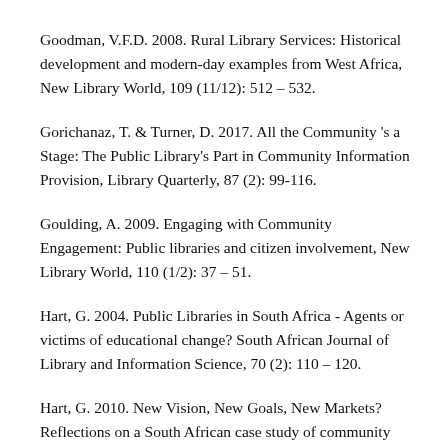Goodman, V.F.D. 2008. Rural Library Services: Historical development and modern-day examples from West Africa, New Library World, 109 (11/12): 512 – 532.
Gorichanaz, T. & Turner, D. 2017. All the Community 's a Stage: The Public Library's Part in Community Information Provision, Library Quarterly, 87 (2): 99-116.
Goulding, A. 2009. Engaging with Community Engagement: Public libraries and citizen involvement, New Library World, 110 (1/2): 37 – 51.
Hart, G. 2004. Public Libraries in South Africa - Agents or victims of educational change? South African Journal of Library and Information Science, 70 (2): 110 – 120.
Hart, G. 2010. New Vision, New Goals, New Markets? Reflections on a South African case study of community